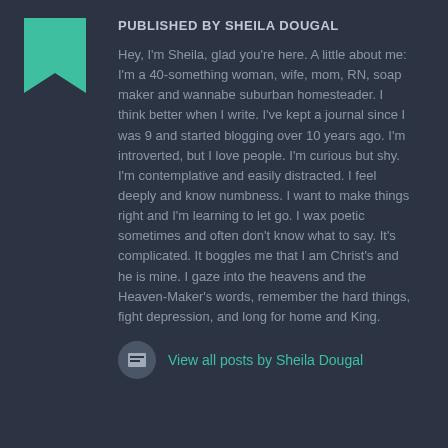Published by Sheila Dougal
Hey, I'm Sheila, glad you're here. A little about me: I'm a 40-something woman, wife, mom, RN, soap maker and wannabe suburban homesteader. I think better when I write. I've kept a journal since I was 9 and started blogging over 10 years ago. I'm introverted, but I love people. I'm curious but shy. I'm contemplative and easily distracted. I feel deeply and know numbness. I want to make things right and I'm learning to let go. I wax poetic sometimes and often don't know what to say. It's complicated. It boggles me that I am Christ's and he is mine. I gaze into the heavens and the Heaven-Maker's words, remember the hard things, fight depression, and long for home and King.
View all posts by Sheila Dougal